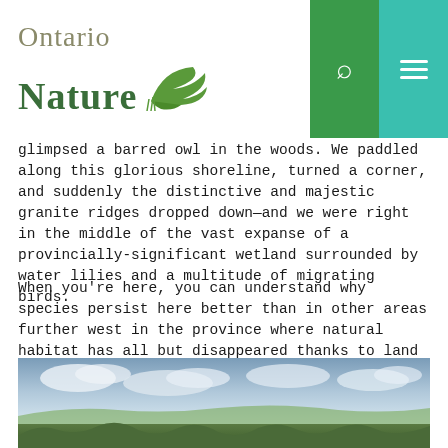Ontario Nature
glimpsed a barred owl in the woods. We paddled along this glorious shoreline, turned a corner, and suddenly the distinctive and majestic granite ridges dropped down—and we were right in the middle of the vast expanse of a provincially-significant wetland surrounded by water lilies and a multitude of migrating birds.
When you're here, you can understand why species persist here better than in other areas further west in the province where natural habitat has all but disappeared thanks to land clearance and extensive development.
[Figure (photo): Landscape photo showing a wide scenic view with sky, clouds, and green vegetation/wetland in the foreground]